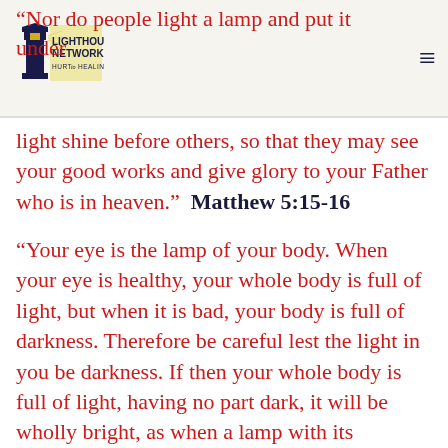“Nor do people light a lamp and put it under
[Figure (logo): LighthouseNetwork.org Hurt to Healing logo with lighthouse icon]
light shine before others, so that they may see your good works and give glory to your Father who is in heaven.”  Matthew 5:15-16
“Your eye is the lamp of your body. When your eye is healthy, your whole body is full of light, but when it is bad, your body is full of darkness. Therefore be careful lest the light in you be darkness. If then your whole body is full of light, having no part dark, it will be wholly bright, as when a lamp with its